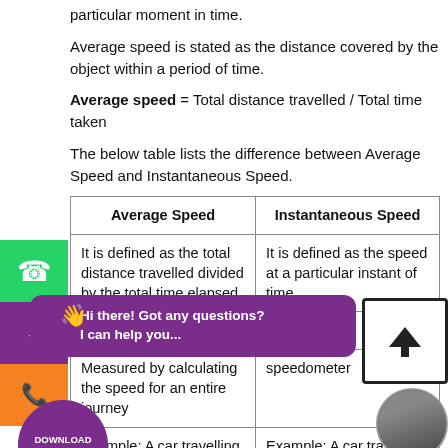particular moment in time.
Average speed is stated as the distance covered by the object within a period of time.
The below table lists the difference between Average Speed and Instantaneous Speed.
| Average Speed | Instantaneous Speed |
| --- | --- |
| It is defined as the total distance travelled divided by the total time elapsed. | It is defined as the speed at a particular instant of time. |
| It is constant | It is variable |
| Measured by calculating the speed for an entire journey | Measured by speedometer |
| Example: A car travelling with a speed of 60 kmph. | Example: A car travelling at a certain speed at an instant of time is determined. |